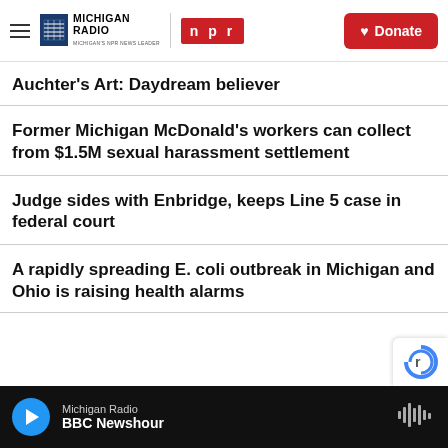Michigan Radio | NPR | Donate
Auchter's Art: Daydream believer
Former Michigan McDonald's workers can collect from $1.5M sexual harassment settlement
Judge sides with Enbridge, keeps Line 5 case in federal court
A rapidly spreading E. coli outbreak in Michigan and Ohio is raising health alarms
Michigan Radio | BBC Newshour